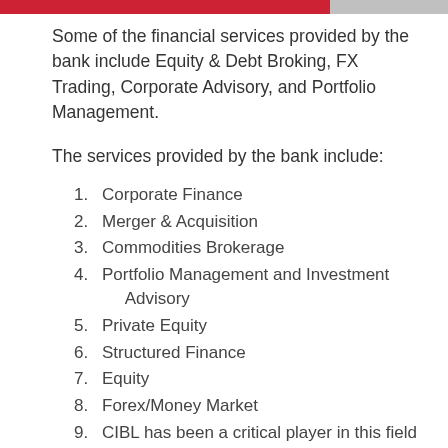Some of the financial services provided by the bank include Equity & Debt Broking, FX Trading, Corporate Advisory, and Portfolio Management.
The services provided by the bank include:
1. Corporate Finance
2. Merger & Acquisition
3. Commodities Brokerage
4. Portfolio Management and Investment Advisory
5. Private Equity
6. Structured Finance
7. Equity
8. Forex/Money Market
9. CIBL has been a critical player in this field and has provided financial advisory services to Buyers/Sellers in most of the significant M&A transactions that have taken place in